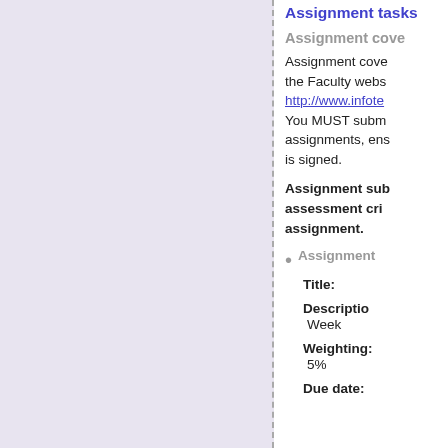[Figure (other): Left panel with light purple/lavender background, separated from right content by a dashed vertical line.]
Assignment tasks
Assignment cove
Assignment cove the Faculty webs http://www.infote You MUST subm assignments, ens is signed.
Assignment sub assessment cri assignment.
Assignment
Title:
Descriptio Week
Weighting: 5%
Due date: